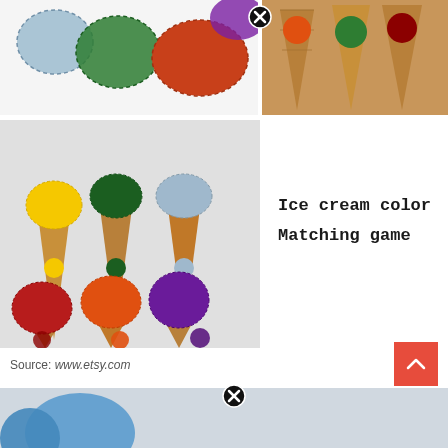[Figure (photo): Felt ice cream scoops in multiple colors (blue, green, orange, red, purple) on white background]
[Figure (photo): Brown felt ice cream cones with colored dot circles (orange, green, dark red) on cones]
[Figure (photo): Multiple felt ice cream cones with colored scoops (yellow, green, blue, red, orange, purple) on cones matching colored dots]
Ice cream color Matching game
Source: www.etsy.com
Nurture your child’s curiosity with immersive activities that make learning an adventure! Toddlers can play this game independently.
[Figure (photo): Partial photo visible at bottom of page (blue object)]